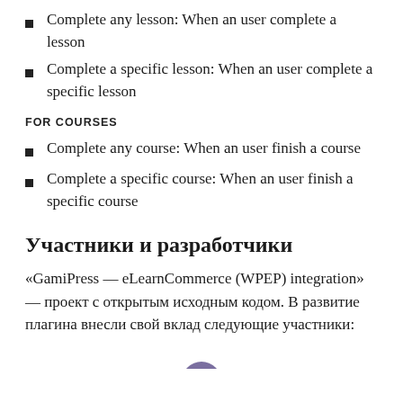Complete any lesson: When an user complete a lesson
Complete a specific lesson: When an user complete a specific lesson
FOR COURSES
Complete any course: When an user finish a course
Complete a specific course: When an user finish a specific course
Участники и разработчики
«GamiPress — eLearnCommerce (WPEP) integration» — проект с открытым исходным кодом. В развитие плагина внесли свой вклад следующие участники:
[Figure (illustration): Partial avatar circle (purple) at the bottom of the page]